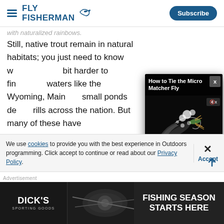FLY FISHERMAN | Subscribe
...with naturalized rainbows.
Still, native trout remain in natural habitats; you just need to know where to look. They might be a bit harder to find now, relegated to smaller waters like the ... Wyoming, Main... small ponds de... rills across the nation. But many of these have
[Figure (screenshot): Video popup overlay titled 'How to Tie the Micro Matcher Fly' showing a fly fishing lure close-up on dark background, with video controls showing 00:00 / 12:51]
We use cookies to provide you with the best experience in Outdoors programming. Click accept to continue or read about our Privacy Policy.
Advertisement
[Figure (photo): Dick's Sporting Goods advertisement banner: 'FISHING SEASON STARTS HERE']